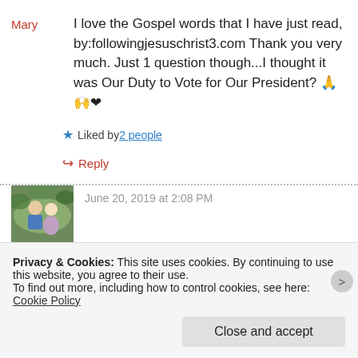Mary
I love the Gospel words that I have just read, by:followingjesuschrist3.com Thank you very much. Just 1 question though...I thought it was Our Duty to Vote for Our President? 🙏🙌❤
★ Liked by 2 people
↪ Reply
June 20, 2019 at 2:08 PM
Privacy & Cookies: This site uses cookies. By continuing to use this website, you agree to their use.
To find out more, including how to control cookies, see here: Cookie Policy
Close and accept